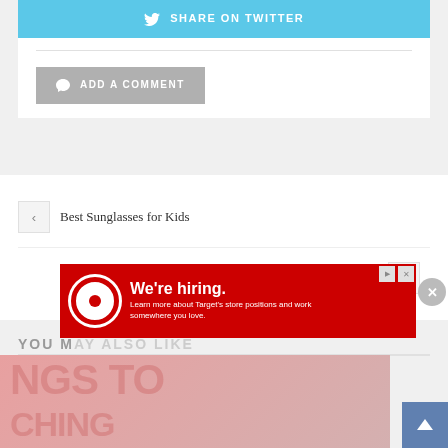[Figure (screenshot): Share on Twitter button (light blue with Twitter bird icon)]
[Figure (screenshot): Add a Comment button (gray with speech bubble icon)]
Best Sunglasses for Kids
Complement Your Summer Fashion With Trending Jewelries
YOU M...
[Figure (screenshot): Target advertisement: We're hiring. Learn more about Target's store positions and work somewhere you love.]
[Figure (screenshot): Partially visible article image with text overlay: NGS TO / CHING...]